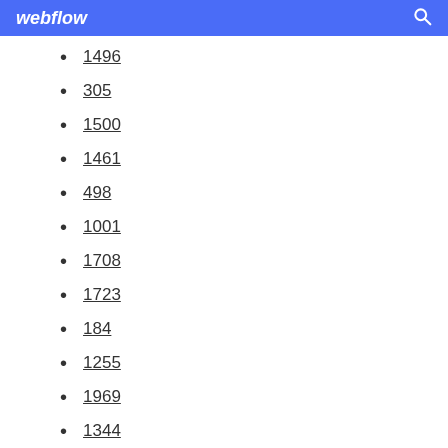webflow
1496
305
1500
1461
498
1001
1708
1723
184
1255
1969
1344
448